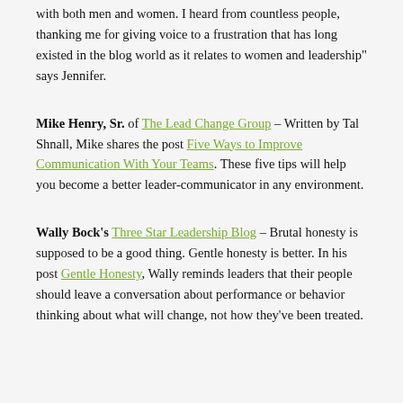with both men and women. I heard from countless people, thanking me for giving voice to a frustration that has long existed in the blog world as it relates to women and leadership" says Jennifer.
Mike Henry, Sr. of The Lead Change Group – Written by Tal Shnall, Mike shares the post Five Ways to Improve Communication With Your Teams. These five tips will help you become a better leader-communicator in any environment.
Wally Bock's Three Star Leadership Blog – Brutal honesty is supposed to be a good thing. Gentle honesty is better. In his post Gentle Honesty, Wally reminds leaders that their people should leave a conversation about performance or behavior thinking about what will change, not how they've been treated.